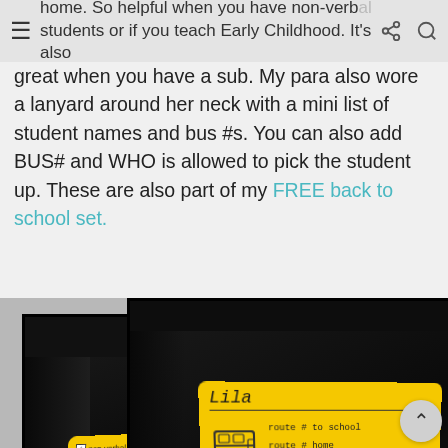home. So helpful when you have non-verbal students or if you teach Early Childhood. It's also
great when you have a sub. My para also wore a lanyard around her neck with a mini list of student names and bus #s. You can also add BUS# and WHO is allowed to pick the student up. These are also part of my FREE back to school set.
[Figure (photo): Two photos showing yellow student bus safety wristbands/lanyards with checklist items (non-verbal, harness req., seizures, seat close to, behavior plan, other: Put) on the left band, and a yellow band with student name 'Lila', bus route information (route # to school, route # home) and a school bus icon on the right band. Both bands are photographed against a dark background.]